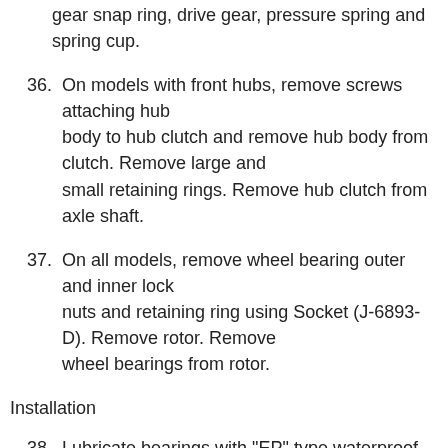gear snap ring, drive gear, pressure spring and spring cup.
36. On models with front hubs, remove screws attaching hub body to hub clutch and remove hub body from clutch. Remove large and small retaining rings. Remove hub clutch from axle shaft.
37. On all models, remove wheel bearing outer and inner lock nuts and retaining ring using Socket (J-6893-D). Remove rotor. Remove wheel bearings from rotor.
Installation
38. Lubricate bearings with "EP" type waterproof